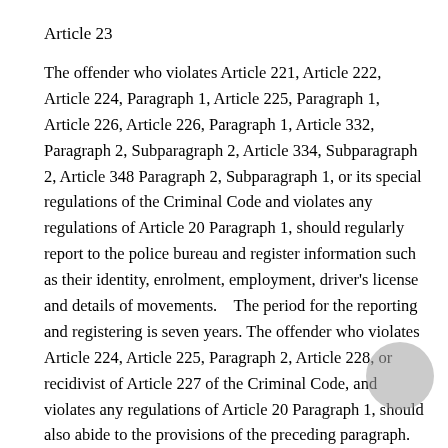Article 23
The offender who violates Article 221, Article 222, Article 224, Paragraph 1, Article 225, Paragraph 1, Article 226, Article 226, Paragraph 1, Article 332, Paragraph 2, Subparagraph 2, Article 334, Subparagraph 2, Article 348 Paragraph 2, Subparagraph 1, or its special regulations of the Criminal Code and violates any regulations of Article 20 Paragraph 1, should regularly report to the police bureau and register information such as their identity, enrolment, employment, driver's license and details of movements.    The period for the reporting and registering is seven years. The offender who violates Article 224, Article 225, Paragraph 2, Article 228, or recidivist of Article 227 of the Criminal Code, and violates any regulations of Article 20 Paragraph 1, should also abide to the provisions of the preceding paragraph. The period for the reporting and registering is five years.